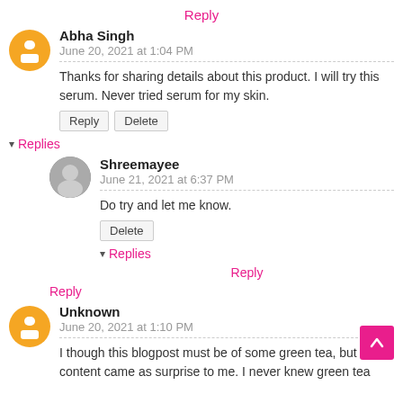Reply
Abha Singh
June 20, 2021 at 1:04 PM
Thanks for sharing details about this product. I will try this serum. Never tried serum for my skin.
Reply  Delete
▾ Replies
Shreemayee
June 21, 2021 at 6:37 PM
Do try and let me know.
Delete
▾ Replies
Reply
Reply
Unknown
June 20, 2021 at 1:10 PM
I though this blogpost must be of some green tea, but the content came as surprise to me. I never knew green tea